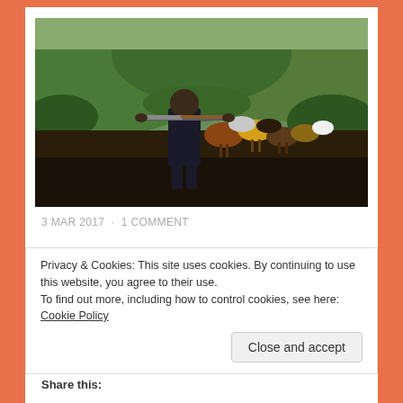[Figure (photo): A person carrying an AK-47 rifle across their shoulders from behind, herding a group of cattle through a bush landscape with green hills in the background.]
3 MAR 2017  ·  1 COMMENT
The Pokot culture is deeply rooted in pastoralism. Our attitude towards and perception of cattle can only be compared to that of the modern society towards gold
Privacy & Cookies: This site uses cookies. By continuing to use this website, you agree to their use.
To find out more, including how to control cookies, see here: Cookie Policy
Close and accept
Share this: